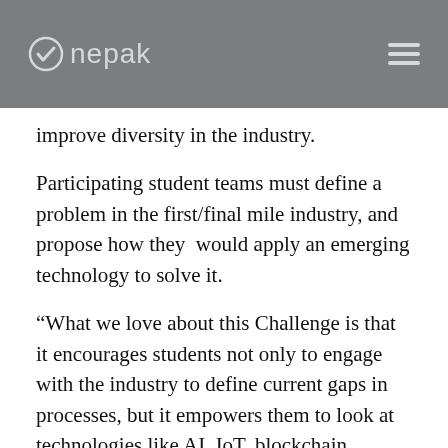Onepak
improve diversity in the industry.
Participating student teams must define a problem in the first/final mile industry, and propose how they  would apply an emerging technology to solve it.
“What we love about this Challenge is that it encourages students not only to engage with the industry to define current gaps in processes, but it empowers them to look at technologies like AI, IoT, blockchain, renewable energy technologies, automation, reusable packaging